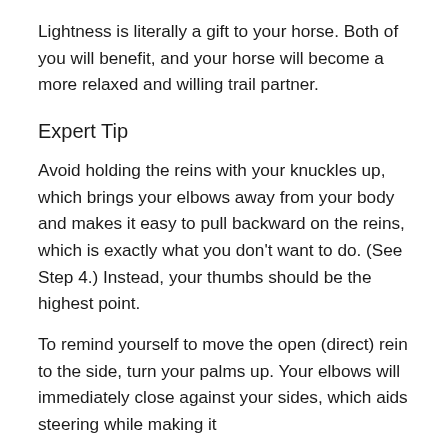Lightness is literally a gift to your horse. Both of you will benefit, and your horse will become a more relaxed and willing trail partner.
Expert Tip
Avoid holding the reins with your knuckles up, which brings your elbows away from your body and makes it easy to pull backward on the reins, which is exactly what you don't want to do. (See Step 4.) Instead, your thumbs should be the highest point.
To remind yourself to move the open (direct) rein to the side, turn your palms up. Your elbows will immediately close against your sides, which aids steering while making it